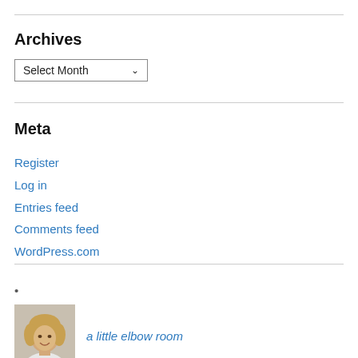Archives
[Figure (other): A dropdown selector labeled 'Select Month' with a downward chevron arrow]
Meta
Register
Log in
Entries feed
Comments feed
WordPress.com
•
[Figure (photo): Small circular avatar photo of a woman with blonde hair]
a little elbow room